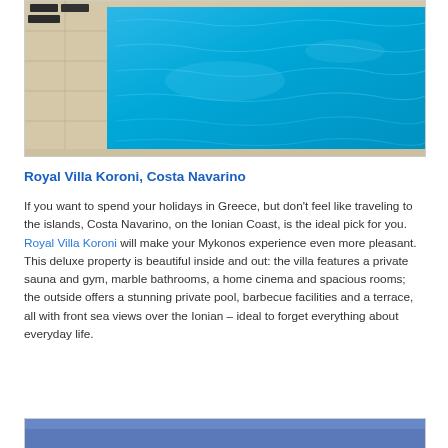[Figure (photo): Aerial/close-up view of a bright blue swimming pool with stone surround and lounge chairs visible at top left]
Royal Villa Koroni, Costa Navarino
If you want to spend your holidays in Greece, but don't feel like traveling to the islands, Costa Navarino, on the Ionian Coast, is the ideal pick for you. Royal Villa Koroni will make your Mykonos experience even more pleasant. This deluxe property is beautiful inside and out: the villa features a private sauna and gym, marble bathrooms, a home cinema and spacious rooms; the outside offers a stunning private pool, barbecue facilities and a terrace, all with front sea views over the Ionian – ideal to forget everything about everyday life.
[Figure (photo): Partial view of another photo showing blue sky/water, cropped at bottom of page]